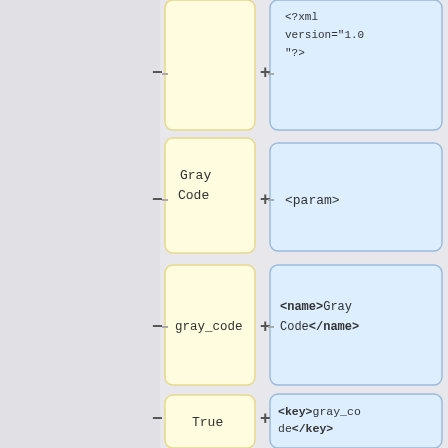[Figure (flowchart): A diagram showing mapping between data values (yellow boxes on left) and XML representations (blue boxes on right), connected by minus and plus symbols with horizontal lines. Rows show: Gray Code → <param>; gray_code → <name>Gray Code</name>; True → <key>gray_code</key>; bool → <value>True</value>; (empty) → <type>bool</type>; Yes → (continues)]